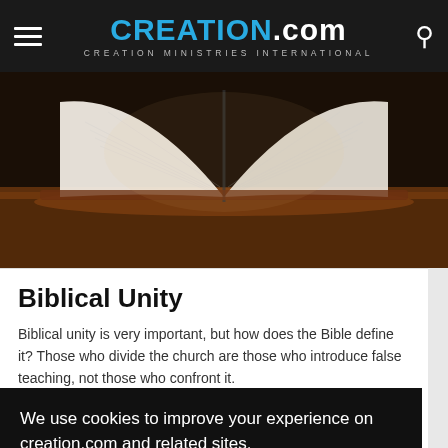CREATION.com — CREATION MINISTRIES INTERNATIONAL
[Figure (photo): Open Bible resting on a wooden surface, photographed from above at an angle, pages spread open, dark background]
Biblical Unity
Biblical unity is very important, but how does the Bible define it? Those who divide the church are those who introduce false teaching, not those who confront it.
We use cookies to improve your experience on creation.com and related sites.
Privacy Policy
Understood